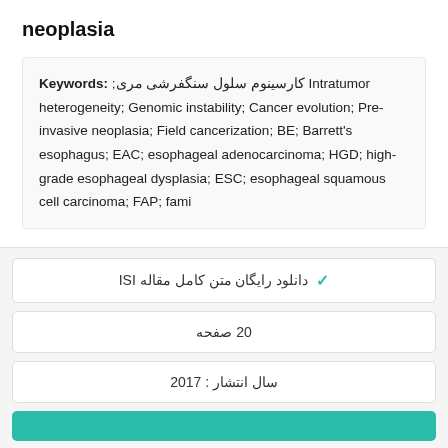neoplasia
Keywords: کارسینوم سلول سنگفرشی مری; Intratumor heterogeneity; Genomic instability; Cancer evolution; Pre-invasive neoplasia; Field cancerization; BE; Barrett's esophagus; EAC; esophageal adenocarcinoma; HGD; high-grade esophageal dysplasia; ESC; esophageal squamous cell carcinoma; FAP; fami
✓ دانلود رایگان متن کامل مقاله ISI
20 صفحه
سال انتشار : 2017